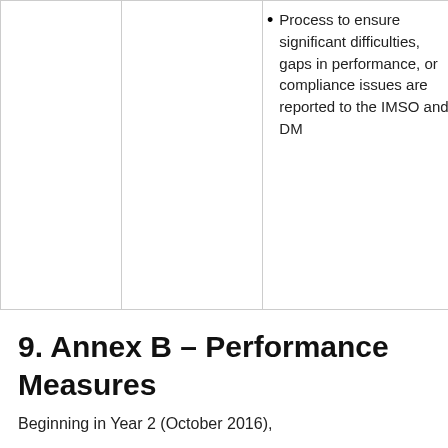|  |  | Process to ensure significant difficulties, gaps in performance, or compliance issues are reported to the IMSO and DM |
9. Annex B – Performance Measures
Beginning in Year 2 (October 2016),